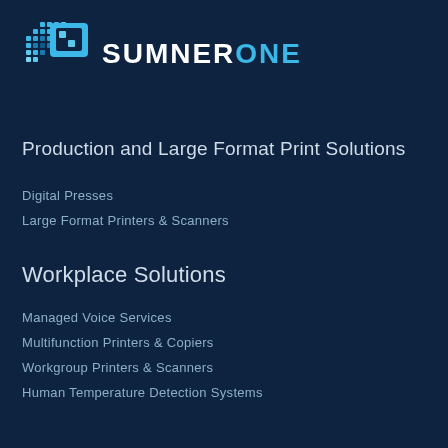[Figure (logo): SumnerOne logo with blue pixel/dot graphic icon and white SUMNER and cyan ONE text]
Production and Large Format Print Solutions
Digital Presses
Large Format Printers & Scanners
Workplace Solutions
Managed Voice Services
Multifunction Printers & Copiers
Workgroup Printers & Scanners
Human Temperature Detection Systems